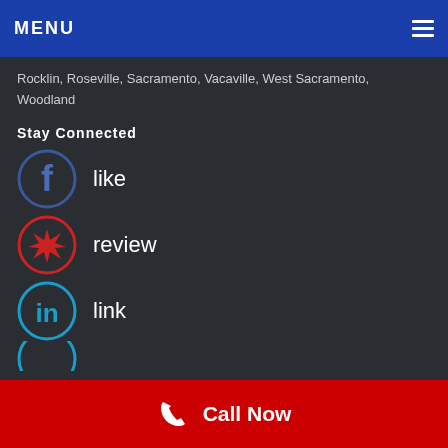MENU
Rocklin, Roseville, Sacramento, Vacaville, West Sacramento, Woodland
Stay Connected
like
review
link
Call Now